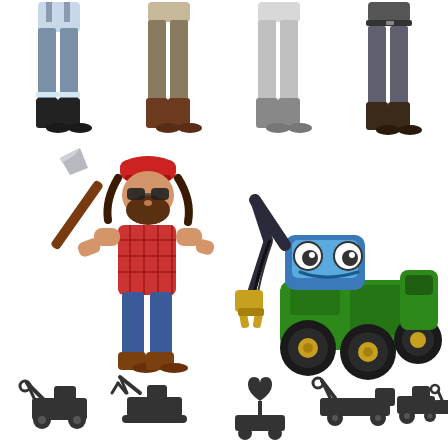[Figure (illustration): Cartoon illustration page showing: top row - lower bodies of four figures in different work uniforms (overalls/boots, brown boots/khaki pants, light grey uniform, dark grey uniform with black boots); middle row - cartoon lumberjack character with red plaid shirt, jeans, axe over shoulder, sunglasses and beard (left), and a cartoon forestry harvester machine with googly eyes in green/blue/black colors (right); bottom row - five dark silhouette icons of various forestry/logging machines (loader with grapple, excavator with grapple, log splitter/shield icon, truck with crane, tractor with trailer)]